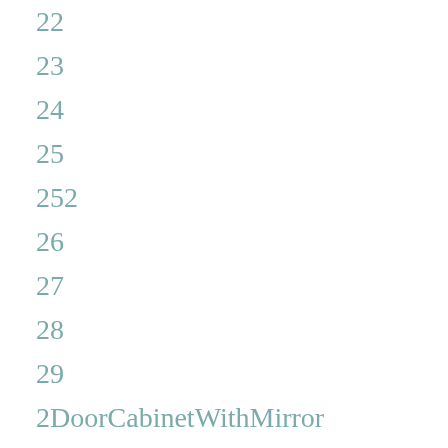22
23
24
25
252
26
27
28
29
2DoorCabinetWithMirror
2DoorCabinetWithShelves
2DoorCabinetWithWheels
2DoorMetalCabinetWithShelves
3